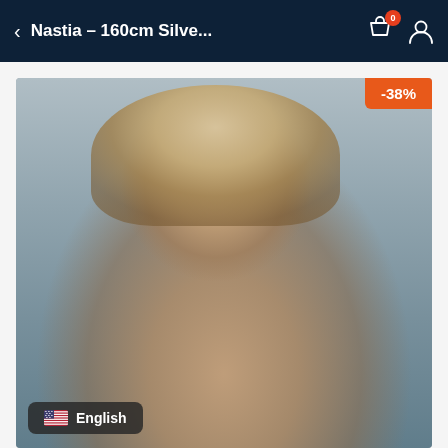Nastia – 160cm Silve...
[Figure (photo): Product photo of a realistic female doll with short blonde hair, blue eyes, red lips, wearing a gold choker necklace, shot in a living room setting. An orange discount badge shows -38% in the top right corner. A language selector pill showing 'English' with a US flag is overlaid at the bottom left.]